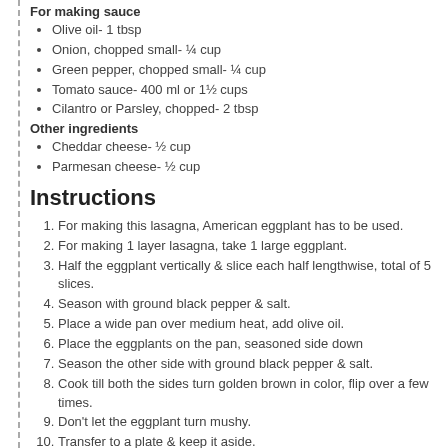For making sauce
Olive oil- 1 tbsp
Onion, chopped small- ¼ cup
Green pepper, chopped small- ¼ cup
Tomato sauce- 400 ml or 1½ cups
Cilantro or Parsley, chopped- 2 tbsp
Other ingredients
Cheddar cheese- ½ cup
Parmesan cheese- ½ cup
Instructions
1. For making this lasagna, American eggplant has to be used.
2. For making 1 layer lasagna, take 1 large eggplant.
3. Half the eggplant vertically & slice each half lengthwise, total of 5 slices.
4. Season with ground black pepper & salt.
5. Place a wide pan over medium heat, add olive oil.
6. Place the eggplants on the pan, seasoned side down
7. Season the other side with ground black pepper & salt.
8. Cook till both the sides turn golden brown in color, flip over a few times.
9. Don't let the eggplant turn mushy.
10. Transfer to a plate & keep it aside.
11. In a bowl, combine ground beef along with all the ingredients for making
12. Make into medium-sized patties.
13. I've air-fried the patties. Place the patties in the air fryer basket.
14. Air fry at 375 F for 25 minutes.
15. Or bake at 400 F or 200 C for 25 minutes.
16. After 25 minutes of air frying, keep the patties aside.
17. Place a wide saucepan over medium heat.
18. Add oil, add onion & green pepper.
19. Saute till they turn soft.